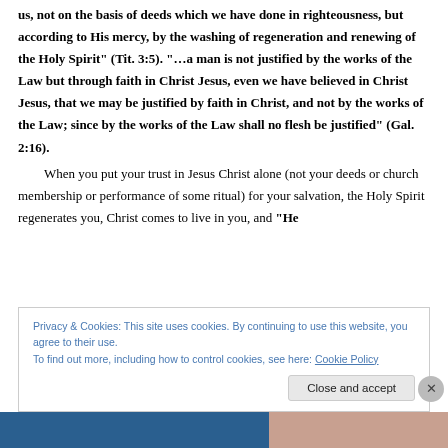works (deeds), that no one should boast" (Eph 2:8,9). "He saved us, not on the basis of deeds which we have done in righteousness, but according to His mercy, by the washing of regeneration and renewing of the Holy Spirit" (Tit. 3:5). "…a man is not justified by the works of the Law but through faith in Christ Jesus, even we have believed in Christ Jesus, that we may be justified by faith in Christ, and not by the works of the Law; since by the works of the Law shall no flesh be justified" (Gal. 2:16). When you put your trust in Jesus Christ alone (not your deeds or church membership or performance of some ritual) for your salvation, the Holy Spirit regenerates you, Christ comes to live in you, and "He
Privacy & Cookies: This site uses cookies. By continuing to use this website, you agree to their use. To find out more, including how to control cookies, see here: Cookie Policy
Close and accept